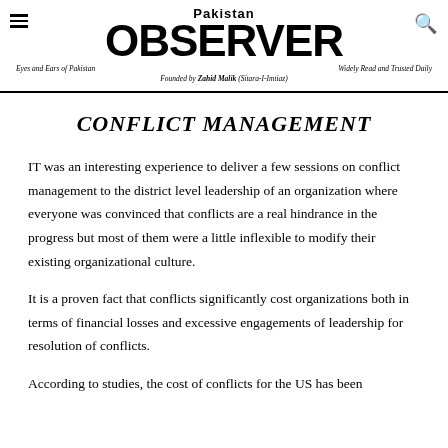Pakistan OBSERVER | Eyes and Ears of Pakistan | Widely Read and Trusted Daily | Founded by Zahid Malik (Sitara-I-Imtiaz)
CONFLICT MANAGEMENT
IT was an interesting experience to deliver a few sessions on conflict management to the district level leadership of an organization where everyone was convinced that conflicts are a real hindrance in the progress but most of them were a little inflexible to modify their existing organizational culture.
It is a proven fact that conflicts significantly cost organizations both in terms of financial losses and excessive engagements of leadership for resolution of conflicts.
According to studies, the cost of conflicts for the US has been